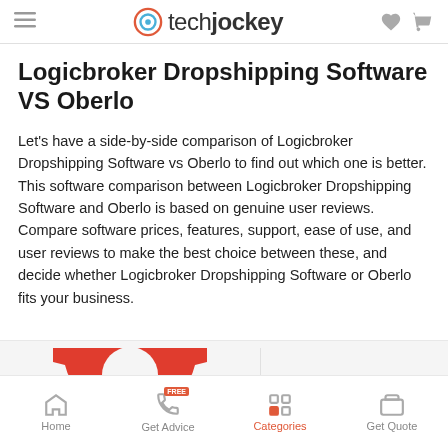techjockey
Logicbroker Dropshipping Software VS Oberlo
Let's have a side-by-side comparison of Logicbroker Dropshipping Software vs Oberlo to find out which one is better. This software comparison between Logicbroker Dropshipping Software and Oberlo is based on genuine user reviews. Compare software prices, features, support, ease of use, and user reviews to make the best choice between these, and decide whether Logicbroker Dropshipping Software or Oberlo fits your business.
[Figure (illustration): Red gear/cog icon partially visible at bottom of page]
Home | Get Advice | Categories | Get Quote